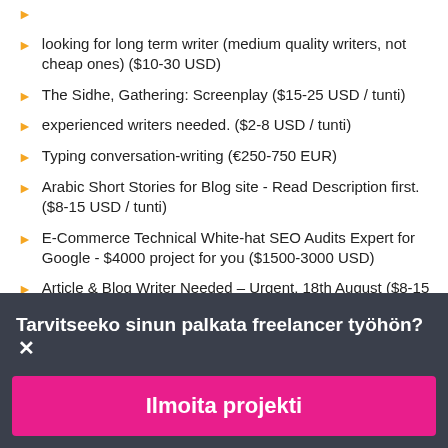looking for long term writer (medium quality writers, not cheap ones) ($10-30 USD)
The Sidhe, Gathering: Screenplay ($15-25 USD / tunti)
experienced writers needed. ($2-8 USD / tunti)
Typing conversation-writing (€250-750 EUR)
Arabic Short Stories for Blog site - Read Description first. ($8-15 USD / tunti)
E-Commerce Technical White-hat SEO Audits Expert for Google - $4000 project for you ($1500-3000 USD)
Article & Blog Writer Needed – Urgent, 18th August ($8-15
Tarvitseeko sinun palkata freelancer työhön?
Ilmoita projekti